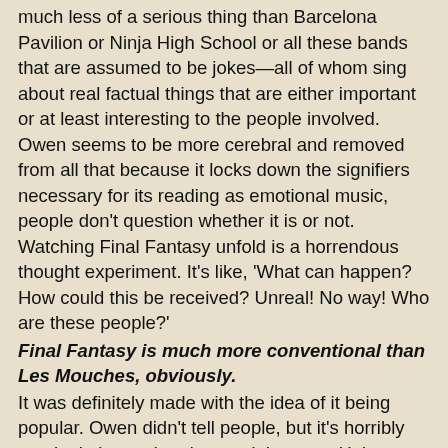much less of a serious thing than Barcelona Pavilion or Ninja High School or all these bands that are assumed to be jokes—all of whom sing about real factual things that are either important or at least interesting to the people involved. Owen seems to be more cerebral and removed from all that because it locks down the signifiers necessary for its reading as emotional music, people don't question whether it is or not. Watching Final Fantasy unfold is a horrendous thought experiment. It's like, 'What can happen? How could this be received? Unreal! No way! Who are these people?'
Final Fantasy is much more conventional than Les Mouches, obviously.
It was definitely made with the idea of it being popular. Owen didn't tell people, but it's horribly manipulative and understood that way. He's aiming for it that way, but he later defined it as 'public service.' It's vain-sounding, but he was joking and defining it as 'give them what they want.'
He told me that he made the first record for other people and that this is the record he wanted to make. Although I don't think it's drastically different.
It's drastically different in some respects. The first record wasn't very well thought out, and wasn't written out in advance, and was definitely a seat of the pants effort. This